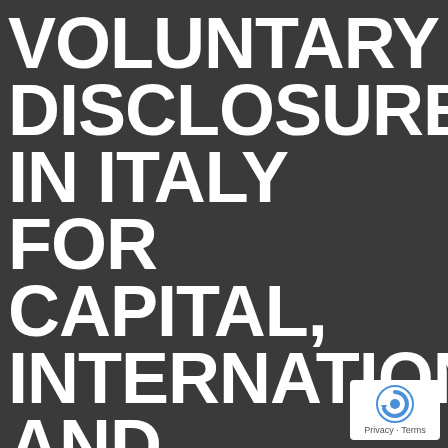VOLUNTARY DISCLOSURE IN ITALY FOR CAPITAL, INTERNATIONAL AND DOMESTIC
[Figure (logo): reCAPTCHA logo with 'Privacy - Terms' text beneath it]